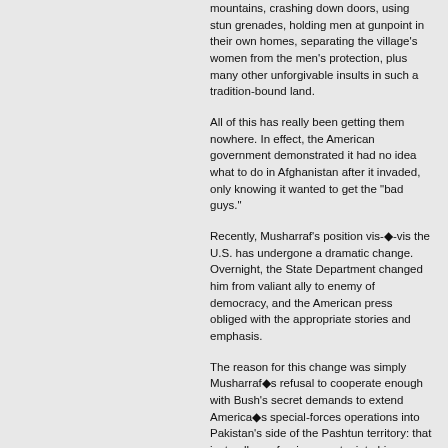mountains, crashing down doors, using stun grenades, holding men at gunpoint in their own homes, separating the village's women from the men's protection, plus many other unforgivable insults in such a tradition-bound land.
All of this has really been getting them nowhere. In effect, the American government demonstrated it had no idea what to do in Afghanistan after it invaded, only knowing it wanted to get the "bad guys."
Recently, Musharraf's position vis-◆-vis the U.S. has undergone a dramatic change. Overnight, the State Department changed him from valiant ally to enemy of democracy, and the American press obliged with the appropriate stories and emphasis.
The reason for this change was simply Musharraf◆s refusal to cooperate enough with Bush's secret demands to extend America◆s special-forces operations into Pakistan's side of the Pashtun territory: that is, to allow a foreign country into his